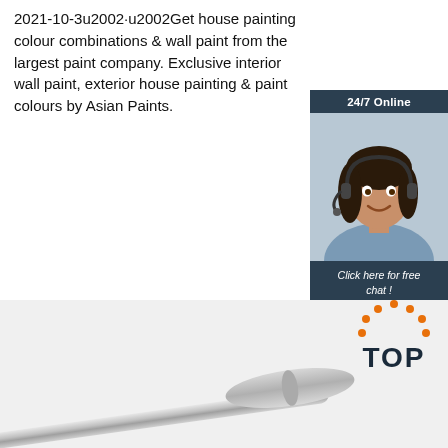2021-10-3u2002·u2002Get house painting colour combinations & wall paint from the largest paint company. Exclusive interior wall paint, exterior house painting & paint colours by Asian Paints.
[Figure (other): Orange 'Get Price' button]
[Figure (other): Chat widget with '24/7 Online' header, female customer service agent photo with headset, 'Click here for free chat!' text, and orange QUOTATION button on dark navy background]
[Figure (other): Bottom section showing a metallic paint roller on white background with a 'TOP' badge logo in orange and dark on the right side]